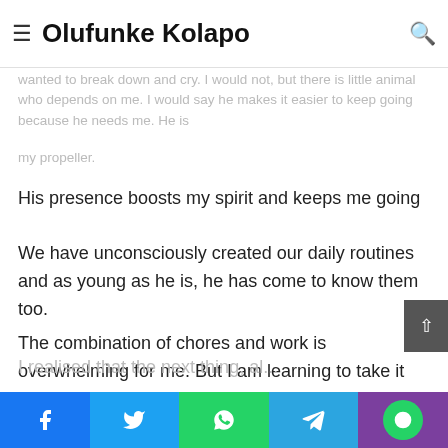Olufunke Kolapo
wanted to break down and cry. I would not, but there is little animal who depends on me. I would say he makes it easier to keep going because he needs me. He is my propeller.
His presence boosts my spirit and keeps me going
We have unconsciously created our daily routines and as young as he is, he has come to know them too.
The combination of chores and work is overwhelming for me. But I am learning to take it slowly and breathing when I'm exhausted. I do all things they'd help me with and more. I'd get tired, sometimes barely able to move. I would rest and keep going.
I realised that the next thing, al... (continues)
Facebook | Twitter | WhatsApp | Telegram | More